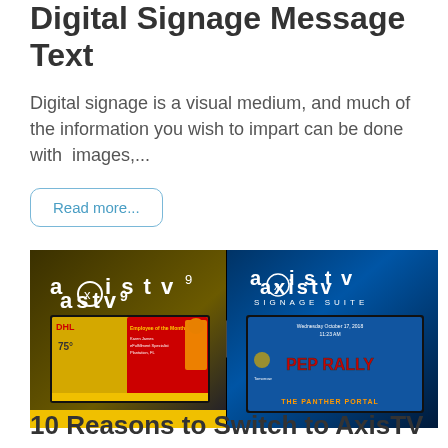Digital Signage Message Text
Digital signage is a visual medium, and much of the information you wish to impart can be done with images,...
Read more...
[Figure (screenshot): Screenshot showing axistv9 logo on left with a DHL digital signage display, and axistv Signage Suite logo on right with a school PEP RALLY digital signage display called THE PANTHER PORTAL]
10 Reasons to Switch to AxisTV